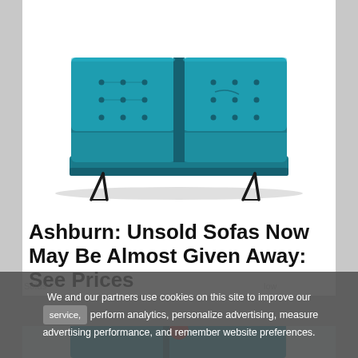[Figure (photo): A teal/dark cyan tufted mid-century modern sofa/futon with two seat cushions and hairpin black metal legs, photographed on a white background]
Ashburn: Unsold Sofas Now May Be Almost Given Away: See Prices
We and our partners use cookies on this site to improve our service, perform analytics, personalize advertising, measure advertising performance, and remember website preferences.
[Figure (photo): Partially visible sofa image at the bottom of the page, cut off by the page boundary]